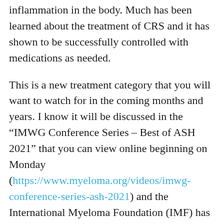inflammation in the body. Much has been learned about the treatment of CRS and it has shown to be successfully controlled with medications as needed.
This is a new treatment category that you will want to watch for in the coming months and years. I know it will be discussed in the “IMWG Conference Series – Best of ASH 2021” that you can view online beginning on Monday (https://www.myeloma.org/videos/imwg-conference-series-ash-2021) and the International Myeloma Foundation (IMF) has a terrific video series on “Using Your Immune System To Fight Myeloma” which features a segment on how bispecifics work (Myeloma and the Immune System | Int’l Myeloma Fndtn). As always, knowledge is power!